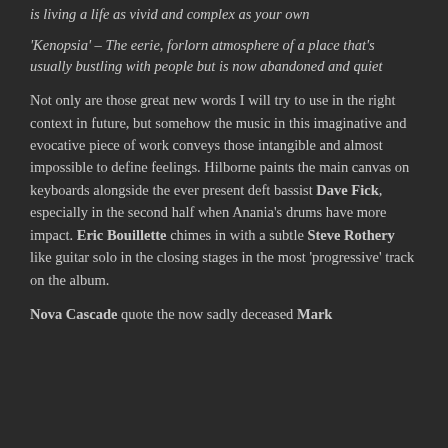is living a life as vivid and complex as your own
'Kenopsia' – The eerie, forlorn atmosphere of a place that's usually bustling with people but is now abandoned and quiet
Not only are those great new words I will try to use in the right context in future, but somehow the music in this imaginative and evocative piece of work conveys those intangible and almost impossible to define feelings. Hilborne paints the main canvas on keyboards alongside the ever present deft bassist Dave Fick, especially in the second half when Anania's drums have more impact. Eric Bouillette chimes in with a subtle Steve Rothery like guitar solo in the closing stages in the most 'progressive' track on the album.
Nova Cascade quote the now sadly deceased Mark